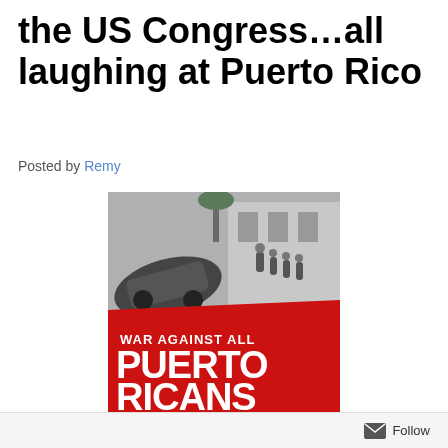the US Congress…all laughing at Puerto Rico
Posted by Remy
[Figure (photo): Book cover of 'War Against All Puerto Ricans: Revolution and Terror in America's Colony' by Nelson A. Denis. Upper half shows a black and white historical photograph of a street scene with overturned cars and people. Lower half is a bold red background with white text showing the title and author name.]
Follow